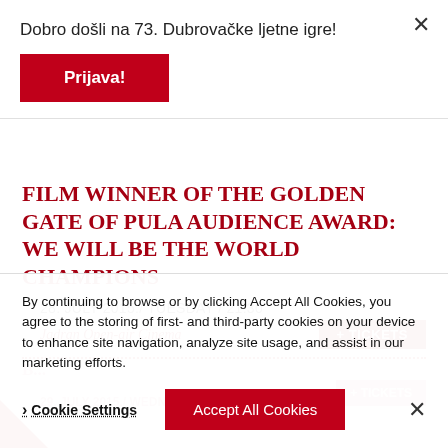Dobro došli na 73. Dubrovačke ljetne igre!
Prijava!
FILM WINNER OF THE GOLDEN GATE OF PULA AUDIENCE AWARD: WE WILL BE THE WORLD CHAMPIONS
28. JULY 2015./ TUESDAY / 21:30
Jadran Open-air Cinema
+ TICKETS
By continuing to browse or by clicking Accept All Cookies, you agree to the storing of first- and third-party cookies on your device to enhance site navigation, analyze site usage, and assist in our marketing efforts.
Cookie Settings
Accept All Cookies